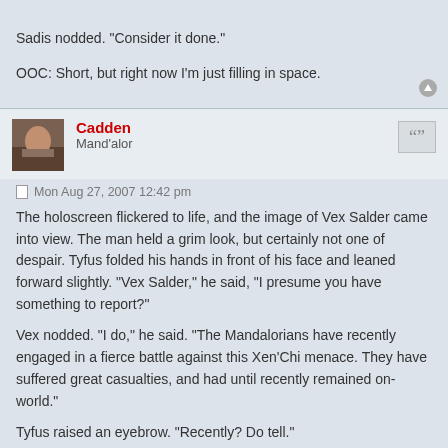Sadis nodded. "Consider it done."
OOC: Short, but right now I'm just filling in space.
Cadden
Mand'alor
Mon Aug 27, 2007 12:42 pm
The holoscreen flickered to life, and the image of Vex Salder came into view. The man held a grim look, but certainly not one of despair. Tyfus folded his hands in front of his face and leaned forward slightly. "Vex Salder," he said, "I presume you have something to report?"
Vex nodded. "I do," he said. "The Mandalorians have recently engaged in a fierce battle against this Xen'Chi menace. They have suffered great casualties, and had until recently remained on-world."
Tyfus raised an eyebrow. "Recently? Do tell."
Vex proceeded to explain the Mandalorians' latest move, pushing to the planet Bandomeer. Not much was known, but the Crimson Guard had gathered enough information for Tyfus to feed off of. "And you're certain